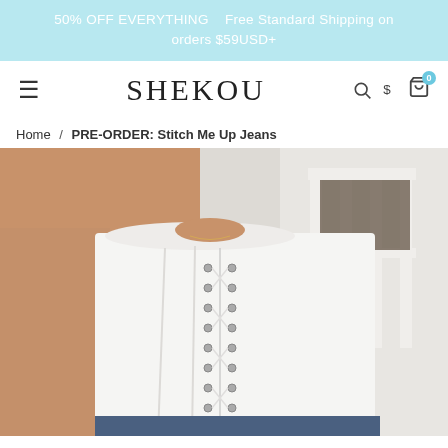50% OFF EVERYTHING   Free Standard Shipping on orders $59USD+
SHEKOU
Home / PRE-ORDER: Stitch Me Up Jeans
[Figure (photo): Model wearing a white strapless lace-up corset top with metal eyelets, paired with jeans. Background shows white architectural railings outdoors.]